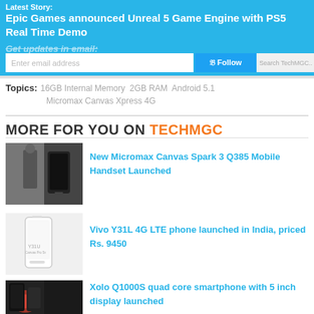Latest Story: Epic Games announced Unreal 5 Game Engine with PS5 Real Time Demo
Get updates in email:
Enter email address | Follow | Subscribe | Search TechMGC...
Topics: 16GB Internal Memory  2GB RAM  Android 5.1  Micromax Canvas Xpress 4G
MORE FOR YOU ON TECHMGC
[Figure (photo): Micromax Canvas Spark 3 Q385 phone promotional image]
New Micromax Canvas Spark 3 Q385 Mobile Handset Launched
[Figure (photo): Vivo Y31L 4G LTE phone white handset image]
Vivo Y31L 4G LTE phone launched in India, priced Rs. 9450
[Figure (photo): Xolo Q1000S quad core smartphone image]
Xolo Q1000S quad core smartphone with 5 inch display launched